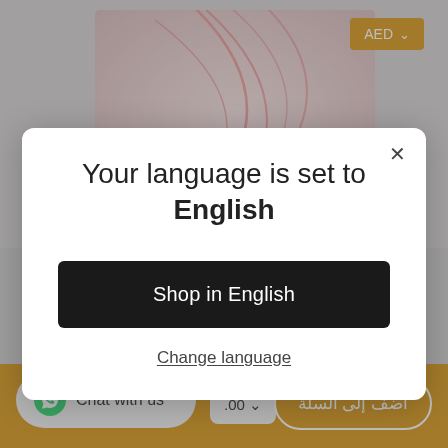[Figure (screenshot): E-commerce product page screenshot showing a pink MacBook Air product image with a language selection modal overlay. AED currency button visible top right. Bottom bar shows WhatsApp chat button, price dropdown, and Arabic add-to-cart button.]
AED ∨
Your language is set to English
Shop in English
Change language
Chat with us
.00 ∨
أضف إلى السلة